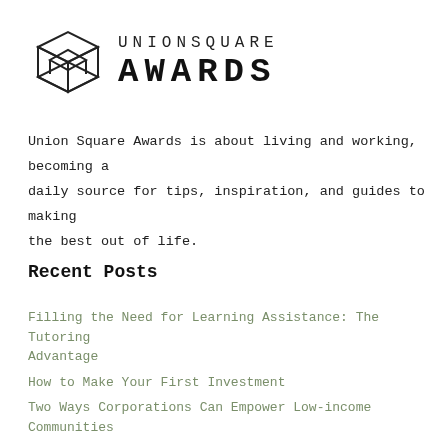[Figure (logo): Union Square Awards logo with a 3D cube outline on the left and the text UNIONSQUARE AWARDS on the right]
Union Square Awards is about living and working, becoming a daily source for tips, inspiration, and guides to making the best out of life.
Recent Posts
Filling the Need for Learning Assistance: The Tutoring Advantage
How to Make Your First Investment
Two Ways Corporations Can Empower Low-income Communities